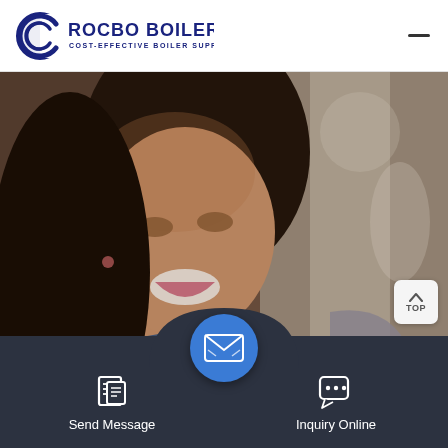[Figure (logo): Rocbo Boiler logo with circular C-shaped emblem and text 'ROCBO BOILER' with tagline 'COST-EFFECTIVE BOILER SUPPLIER']
[Figure (photo): A smiling woman with dark hair holding what appears to be a laptop or tablet, background is blurred warm tones]
[Figure (other): TOP button - an arrow up icon with label TOP in a rounded square]
[Figure (infographic): Bottom navigation bar with dark background showing 'Send Message' with document icon on left, email circle button in center, and 'Inquiry Online' with chat icon on right]